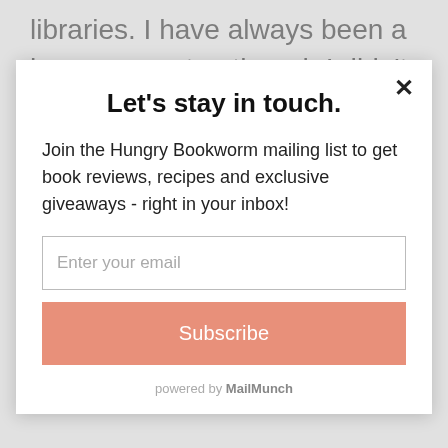libraries. I have always been a huge supporter, though I didn't necessarily know how my borrowing books benefitted them. Thank for you explaining – and I'm
Let's stay in touch.
Join the Hungry Bookworm mailing list to get book reviews, recipes and exclusive giveaways - right in your inbox!
Enter your email
Subscribe
powered by MailMunch